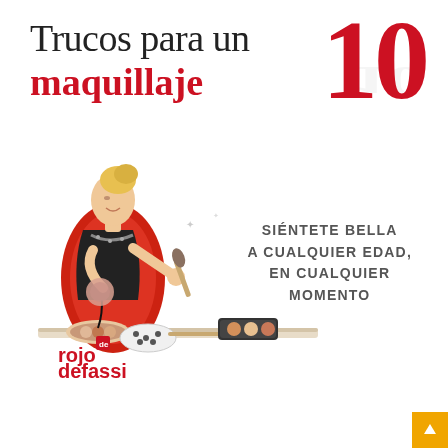Trucos para un maquillaje 10
SIÉNTETE BELLA A CUALQUIER EDAD, EN CUALQUIER MOMENTO
[Figure (illustration): Cartoon illustration of a blonde woman sitting at a makeup table applying makeup, surrounded by cosmetics items, seated in a red chair]
[Figure (logo): Rojo de Fassi publisher logo in red text]